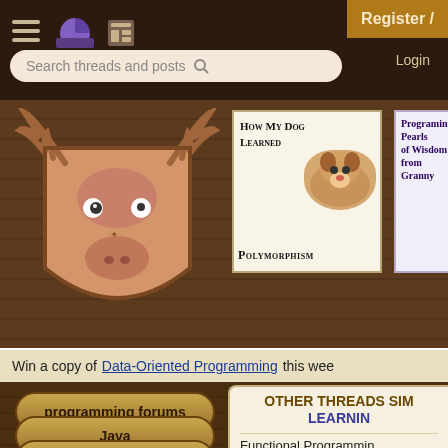Navigation bar with hamburger menu, pie chart icon, news icon, Register / Login buttons, and search bar
[Figure (illustration): Moose mascot logo — cartoon moose head mounted on a shield crest, hand-drawn style, brown/orange tones]
[Figure (illustration): Book cover: 'How My Dog Learned Polymorphism' with a photo of a Jack Russell terrier dog, text in bold serif font]
[Figure (illustration): Book cover: 'Programing Pearls of Wisdom from Granny' with a cartoon illustration of an elderly woman in a blue dress with pearl necklace]
Win a copy of Data-Oriented Programming this wee
programming forums
Java
Mobile
OTHER THREADS SIMILAR TO LEARNING
Functional Programming